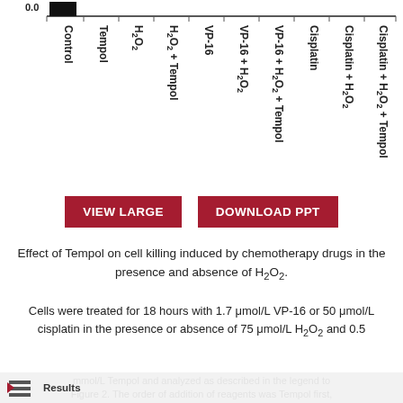[Figure (bar-chart): Bar chart with x-axis labels shown as rotated vertical text. The y-axis shows 0.0 at top of visible portion. Bars and gridlines visible at top.]
Effect of Tempol on cell killing induced by chemotherapy drugs in the presence and absence of H2O2.
Cells were treated for 18 hours with 1.7 μmol/L VP-16 or 50 μmol/L cisplatin in the presence or absence of 75 μmol/L H2O2 and 0.5 mmol/L Tempol and analyzed as described in the legend to Figure 2. The order of addition of reagents was Tempol first, followed by
Results